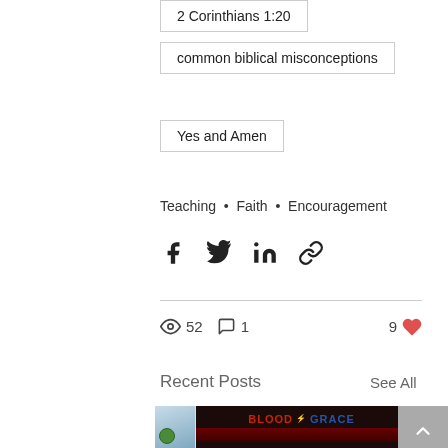2 Corinthians 1:20
common biblical misconceptions
Yes and Amen
Teaching • Faith • Encouragement
[Figure (other): Social share icons: Facebook, Twitter, LinkedIn, and link/chain icon]
52 views  1 comment  9 likes
Recent Posts
See All
[Figure (photo): Blog post thumbnail: left partial image with smiley face illustration on blue background, center image with BLOOD & GRACE text over dark red background, right partial image with dark brown background, and a grey scroll-to-top arrow button in top right corner]